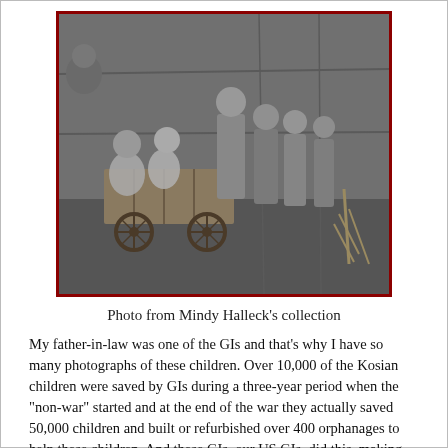[Figure (photo): Black and white photograph showing a group of children, some seated in a wooden wagon with wheels, others standing nearby against a wooden wall background. Red border around the photo.]
Photo from Mindy Halleck’s collection
My father-in-law was one of the GIs and that’s why I have so many photographs of these children. Over 10,000 of the Kosian children were saved by GIs during a three-year period when the “non-war” started and at the end of the war they actually saved 50,000 children and built or refurbished over 400 orphanages to help these children. And these GIs, our US GIs, did this, making most of them on